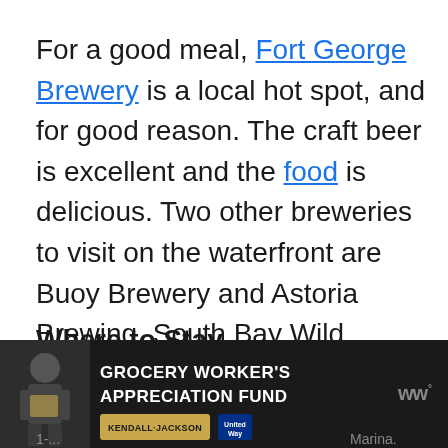For a good meal, Fort George Brewery is a local hot spot, and for good reason. The craft beer is excellent and the food is delicious. Two other breweries to visit on the waterfront are Buoy Brewery and Astoria Brewing. South Bay Wild Fishhouse and Mo's Restaurant are where to go for a casual seafood meal.
Where to Stay
The Astoria Riverwalk Inn is located a quick 1-... Marina.
[Figure (other): Advertisement banner for Grocery Worker's Appreciation Fund featuring Kendall-Jackson and United Way logos, with a person holding groceries]